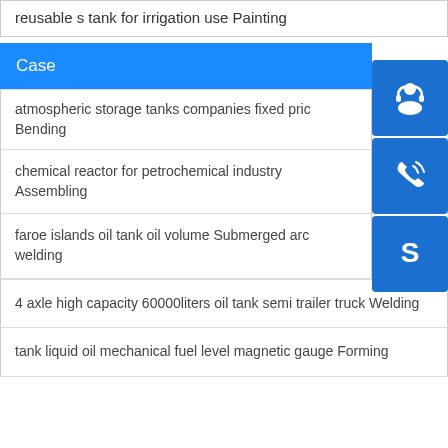reusable s tank for irrigation use Painting
Case
atmospheric storage tanks companies fixed price Bending
chemical reactor for petrochemical industry Assembling
faroe islands oil tank oil volume Submerged arc welding
4 axle high capacity 60000liters oil tank semi trailer truck Welding
tank liquid oil mechanical fuel level magnetic gauge Forming